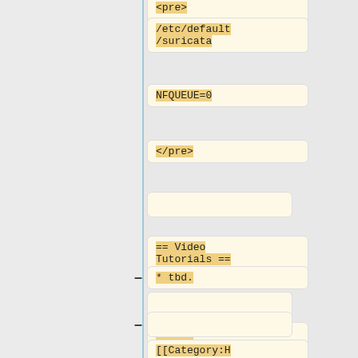<pre>
/etc/default/suricata
NFQUEUE=0
</pre>
== Video Tutorials ==
* tbd.
[[Category:HOWTO]] [[Category:Installation]